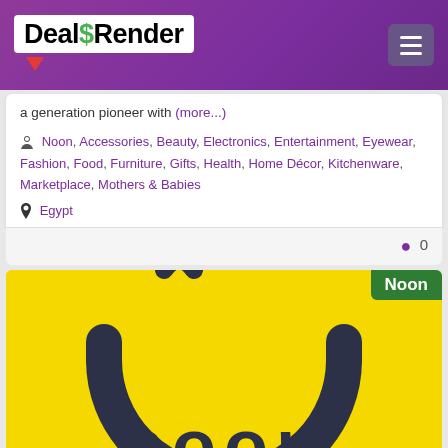DealsRender
a generation pioneer with (more...)
Noon, Accessories, Beauty, Electronics, Entertainment, Eyewear, Fashion, Food, Furniture, Gifts, Health, Home Décor, Kitchenware, Marketplace, Mothers & Babies
Egypt
0
[Figure (logo): Noon brand logo on yellow background showing a smile/arc icon above the word 'noon' in dark navy text, with a green 'Noon' badge in the top right corner]